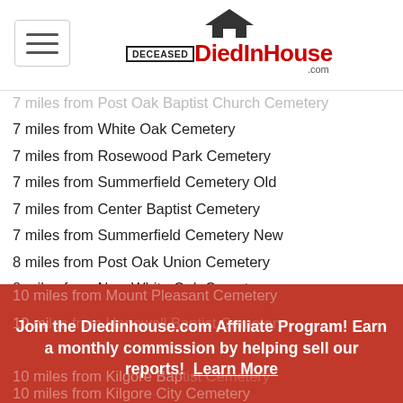DECEASED DiedInHouse.com
7 miles from Post Oak Baptist Church Cemetery
7 miles from White Oak Cemetery
7 miles from Rosewood Park Cemetery
7 miles from Summerfield Cemetery Old
7 miles from Center Baptist Cemetery
7 miles from Summerfield Cemetery New
8 miles from Post Oak Union Cemetery
8 miles from New White Oak Cemetery
9 miles from Shiloh Baptist Church Cemetery
9 miles from New Hope Cemetery
9 miles from Pleasant Hill CME Church Cemetery
9 miles from Strong Memorial Cemetery
9 miles from Sherman Chapel Baptist Church Cemetery
10 miles from Mount Pleasant Cemetery
10 miles from Hopewell Baptist Cemetery
10 miles from Kilgore Baptist Cemetery
10 miles from Kilgore City Cemetery
Join the Diedinhouse.com Affiliate Program! Earn a monthly commission by helping sell our reports! Learn More